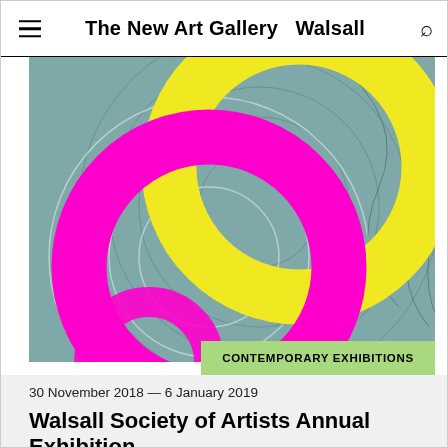The New Art Gallery  Walsall
[Figure (illustration): Abstract illustration with overlapping large rings on a teal/grey background. A bright yellow ring and a magenta/pink ring overlap each other with concentric circular line patterns in grey behind them.]
CONTEMPORARY EXHIBITIONS
30 November 2018 — 6 January 2019
Walsall Society of Artists Annual Exhibition